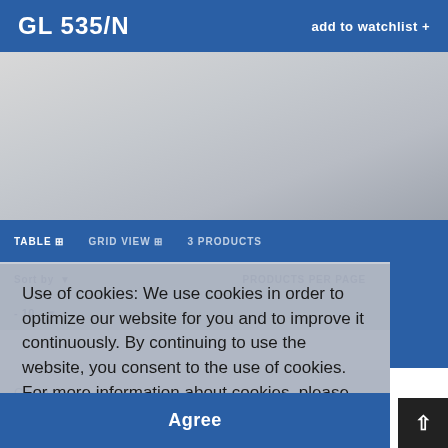GL 535/N
add to watchlist +
[Figure (screenshot): Gray gradient banner image area for product GL 535/N]
TABLE  GRID VIEW  3 PRODUCTS
Sort by  ▼  PRODUCTS PER PAGE
- 10 - ▼
Use of cookies: We use cookies in order to optimize our website for you and to improve it continuously. By continuing to use the website, you consent to the use of cookies. For more information about cookies, please see our privacy policy  privacy policy
Agree
Company